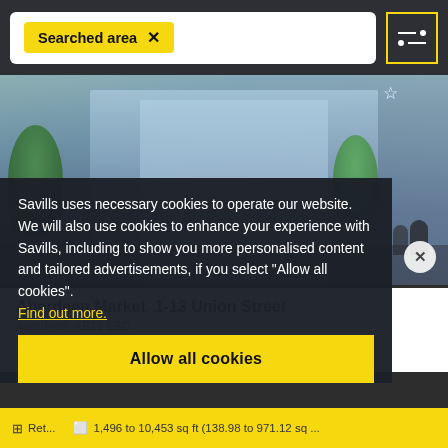Searched area
[Figure (photo): Exterior photo of Aberdeen Market building on Union Street, a modern glass-fronted commercial building with trees in the foreground]
Savills uses necessary cookies to operate our website. We will also use cookies to enhance your experience with Savills, including to show you more personalised content and tailored advertisements, if you select "Allow all cookies". Find out more.
Aberdeen Market, 1-13 Union Street
Aberdeen, AB11 6BD
1,496 to 10,453 sq ft (138.98 to 971.12 sq m)
Price on application
Ret...    1,496 to 10,453 sq ft (138.98 to 971.12 sq ...